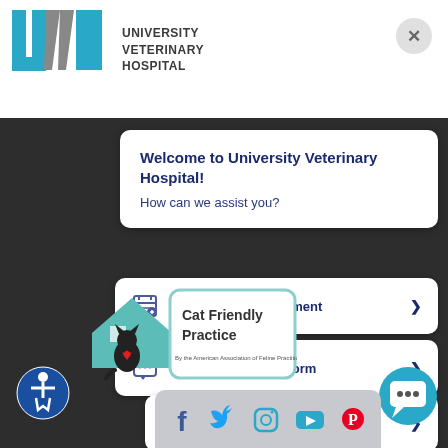[Figure (logo): University Veterinary Hospital logo with UVH letters in teal and grey]
Welcome to University Veterinary Hospital!
How can we assist you?
Request an Appointment >
Client Information Form >
Other Options >
[Figure (logo): Cat Friendly Practice badge by the American Association of Feline Practitioners]
[Figure (infographic): Social media icons bar: Facebook, Twitter, Instagram, YouTube, Pinterest]
[Figure (illustration): Accessibility icon (wheelchair) in blue circle]
[Figure (illustration): Chat bubble icon in teal circle]